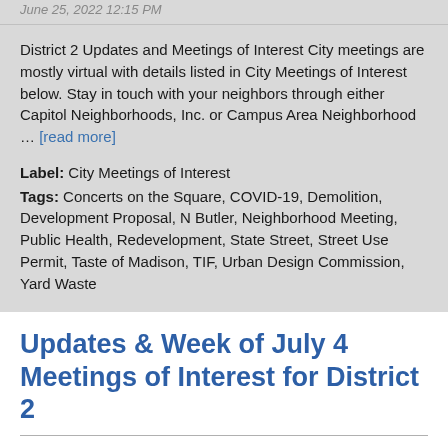June 25, 2022 12:15 PM
District 2 Updates and Meetings of Interest City meetings are mostly virtual with details listed in City Meetings of Interest below. Stay in touch with your neighbors through either Capitol Neighborhoods, Inc. or Campus Area Neighborhood … [read more]
Label: City Meetings of Interest
Tags: Concerts on the Square, COVID-19, Demolition, Development Proposal, N Butler, Neighborhood Meeting, Public Health, Redevelopment, State Street, Street Use Permit, Taste of Madison, TIF, Urban Design Commission, Yard Waste
Updates & Week of July 4 Meetings of Interest for District 2
July 2, 2022 6:20 AM
District 2 Updates and Meetings of Interest City meetings are mostly virtual with details listed in City